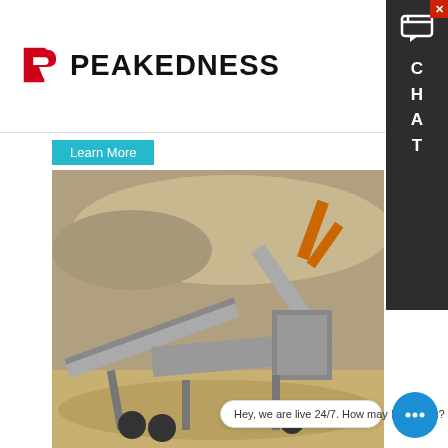[Figure (logo): Peakedness logo with red P arrow icon and bold black PEAKEDNESS text]
[Figure (photo): Industrial crushing/screening machine (conveyor and screener) at a gravel quarry site with large rock piles and an excavator in background. A teal 'Learn More' button overlays the top-left of the image.]
telescope mirror grinding machine for sale
telescope mirror crusher machine is designed to achieve maximum
Hey, we are live 24/7. How may I help you?